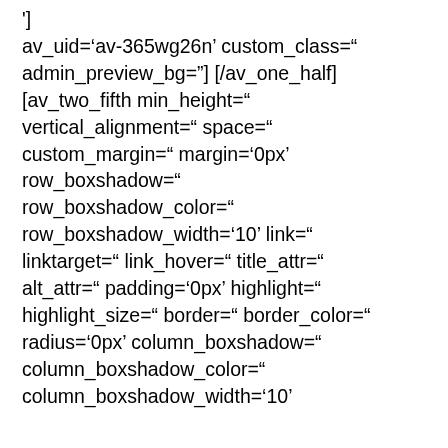'] av_uid='av-365wg26n' custom_class=" admin_preview_bg='] [/av_one_half] [av_two_fifth min_height=" vertical_alignment=" space=" custom_margin=" margin='0px' row_boxshadow=" row_boxshadow_color=" row_boxshadow_width='10' link=" linktarget=" link_hover=" title_attr=" alt_attr=" padding='0px' highlight=" highlight_size=" border=" border_color=" radius='0px' column_boxshadow=" column_boxshadow_color=" column_boxshadow_width='10'